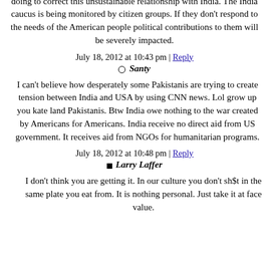are sitting in trenches doing what??? Sure the heck beats me. Americans are now questioning the US Congress as to what they are doing to correct this unsustainable relationship with India. The India caucus is being monitored by citizen groups. If they don't respond to the needs of the American people political contributions to them will be severely impacted.
July 18, 2012 at 10:43 pm | Reply
Santy
I can't believe how desperately some Pakistanis are trying to create tension between India and USA by using CNN news. Lol grow up you kate land Pakistanis. Btw India owe nothing to the war created by Americans for Americans. India receive no direct aid from US government. It receives aid from NGOs for humanitarian programs.
July 18, 2012 at 10:48 pm | Reply
Larry Laffer
I don't think you are getting it. In our culture you don't sh$t in the same plate you eat from. It is nothing personal. Just take it at face value.